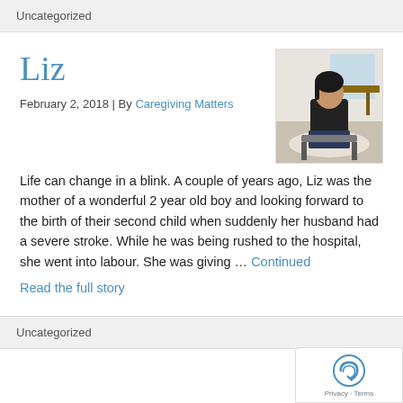Uncategorized
Liz
February 2, 2018 | By Caregiving Matters
[Figure (photo): Woman sitting in a room with wooden furniture, wearing a dark sweater]
Life can change in a blink. A couple of years ago, Liz was the mother of a wonderful 2 year old boy and looking forward to the birth of their second child when suddenly her husband had a severe stroke. While he was being rushed to the hospital, she went into labour. She was giving … Continued
Read the full story
Uncategorized